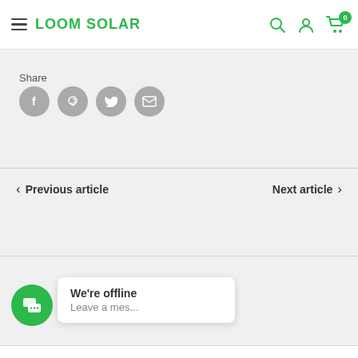LOOM SOLAR
Share
[Figure (other): Social share icons: Facebook, Pinterest, Twitter, Email]
Previous article
Next article
[Figure (other): Chat widget with offline popup: We're offline, Leave a mes...]